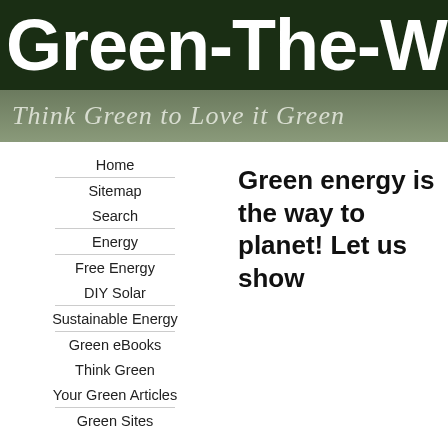Green-The-World
Think Green to Love it Green
Home
Sitemap
Search
Energy
Free Energy
DIY Solar
Sustainable Energy
Green eBooks
Think Green
Your Green Articles
Green Sites
Green energy is the way to planet! Let us show